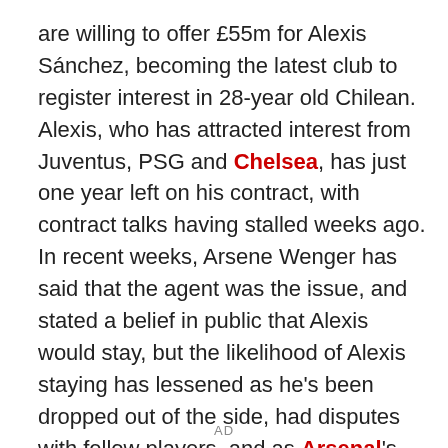are willing to offer £55m for Alexis Sánchez, becoming the latest club to register interest in 28-year old Chilean. Alexis, who has attracted interest from Juventus, PSG and Chelsea, has just one year left on his contract, with contract talks having stalled weeks ago. In recent weeks, Arsene Wenger has said that the agent was the issue, and stated a belief in public that Alexis would stay, but the likelihood of Alexis staying has lessened as he's been dropped out of the side, had disputes with fellow players, and as Arsenal's form has floundered.
AD